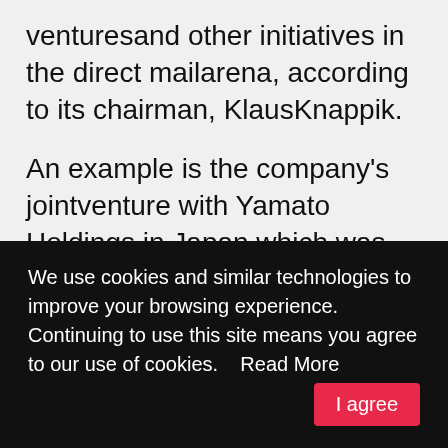venturesand other initiatives in the direct mailarena, according to its chairman, KlausKnappik.
An example is the company's jointventure with Yamato Holdings in Japan,which was formalised in March. Thenew joint venture company – YamatoDirect Marketing – is involved in allaspects of promotional mailing forbusinesses, including market research,running address databases and printingof mailshots.
We use cookies and similar technologies to improve your browsing experience.
Continuing to use this site means you agree to our use of cookies.    Read More